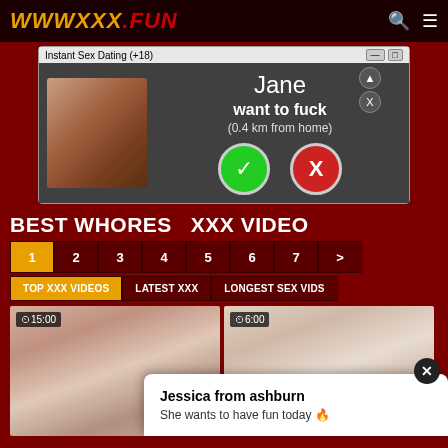WWWXXX.FUN
[Figure (screenshot): Pop-up ad overlay: 'Instant Sex Dating (+18)' window showing a person photo with accept/decline buttons, text reads 'Jane want to fuck (0.4 km from home)']
BEST WHORES XXX VIDEO
Pagination: 1 2 3 4 5 6 7 >
Filter tabs: TOP XXX VIDEOS | LATEST XXX | LONGEST SEX VIDS
[Figure (screenshot): Video thumbnail 1 with duration 15:00]
[Figure (screenshot): Video thumbnail 2 with duration 6:00]
[Figure (screenshot): Notification popup: 'Jessica from ashburn - She wants to have fun today']